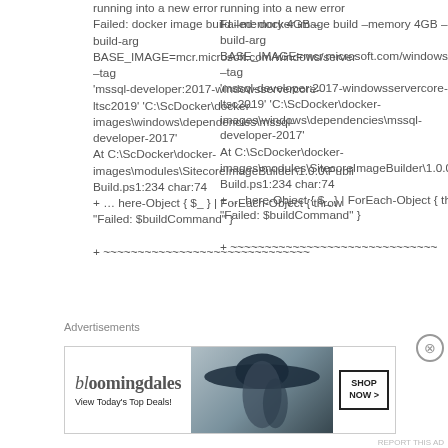running into a new error
Failed: docker image build –memory 4GB –build-arg BASE_IMAGE=mcr.microsoft.com/windows/server –tag 'mssql-developer:2017-windowsservercore-ltsc2019' 'C:\ScDocker\docker-images\windows\dependencies\mssql-developer-2017'
At C:\ScDocker\docker-images\modules\SitecoreImageBuilder\1.0.0\Publi Build.ps1:234 char:74
+ … here-Object { $_ } | ForEach-Object { throw "Failed: $buildCommand" }
+ ~~~~~~~~~~~~~~~~~~~~~~~~~~~~~~~~~~~~~~~~~~~~~~
Advertisements
[Figure (other): Bloomingdale's advertisement banner with logo, 'View Today's Top Deals!' tagline, woman in wide-brimmed hat photo, and 'SHOP NOW >' button]